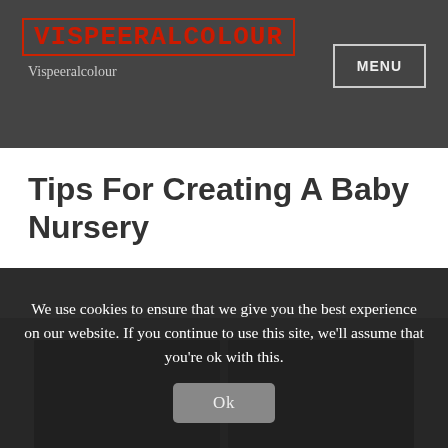VISPEERALCOLOUR — Vispeeralcolour — MENU
Tips For Creating A Baby Nursery
[Figure (photo): Partial view of a baby nursery photo strip, mostly obscured by cookie consent overlay]
We use cookies to ensure that we give you the best experience on our website. If you continue to use this site, we'll assume that you're ok with this.
Ok